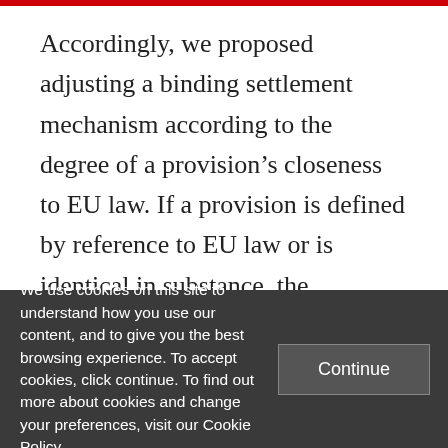Accordingly, we proposed adjusting a binding settlement mechanism according to the degree of a provision’s closeness to EU law. If a provision is defined by reference to EU law or is identical in substance, the envisaged arbitration panel must refer the dispute to the CJEU. The interpretation provided by the CJEU judges is then binding on the arbitration panel. If, however, the
We use cookies on this site to understand how you use our content, and to give you the best browsing experience. To accept cookies, click continue. To find out more about cookies and change your preferences, visit our Cookie Policy.